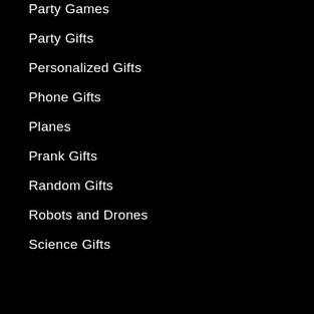Party Games
Party Gifts
Personalized Gifts
Phone Gifts
Planes
Prank Gifts
Random Gifts
Robots and Drones
Science Gifts